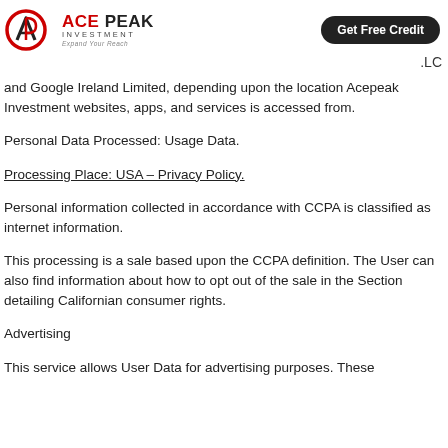Ace Peak Investment – Get Free Credit – .LC
and Google Ireland Limited, depending upon the location Acepeak Investment websites, apps, and services is accessed from.
Personal Data Processed: Usage Data.
Processing Place: USA – Privacy Policy.
Personal information collected in accordance with CCPA is classified as internet information.
This processing is a sale based upon the CCPA definition. The User can also find information about how to opt out of the sale in the Section detailing Californian consumer rights.
Advertising
This service allows User Data for advertising purposes. These